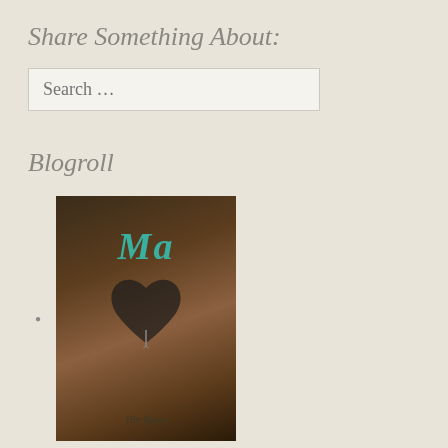Share Something About:
Search ...
Blogroll
[Figure (photo): Book cover for 'Ma' - shows a circular wooden surface with a stylized letter M and a heart shape, teal text reads Ma]
[Figure (photo): Book cover for 'Golem' by Brian Balke - dark background with glowing red/orange disc and a light beam, bold white text says GOLEM]
[Figure (photo): Partial book cover - warm golden/orange tones with tree branches visible, partially cut off at bottom of page]